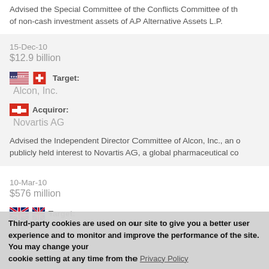Advised the Special Committee of the Conflicts Committee of th... of non-cash investment assets of AP Alternative Assets L.P.
15-Dec-10
$12.9 billion
Target: Alcon, Inc.
Acquiror: Novartis AG
Advised the Independent Director Committee of Alcon, Inc., an o... publicly held interest to Novartis AG, a global pharmaceutical co...
10-Mar-10
$576 million
Target:
Third-party cookies are used on our site to give you a better user experience and to monitor and improve the performance of the site.  You may change your cookie setting at any time from the  Privacy Policy